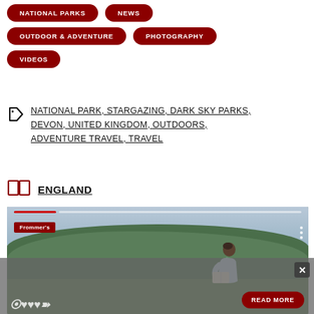NATIONAL PARKS
NEWS
OUTDOOR & ADVENTURE
PHOTOGRAPHY
VIDEOS
NATIONAL PARK, STARGAZING, DARK SKY PARKS, DEVON, UNITED KINGDOM, OUTDOORS, ADVENTURE TRAVEL, TRAVEL
ENGLAND
[Figure (photo): Person reading a book or map outdoors with green forested hills and grey sky in background. Frommer's branded image with progress bar and three-dot menu overlay.]